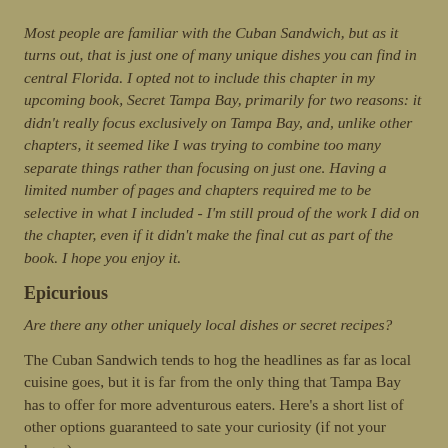Most people are familiar with the Cuban Sandwich, but as it turns out, that is just one of many unique dishes you can find in central Florida. I opted not to include this chapter in my upcoming book, Secret Tampa Bay, primarily for two reasons: it didn't really focus exclusively on Tampa Bay, and, unlike other chapters, it seemed like I was trying to combine too many separate things rather than focusing on just one. Having a limited number of pages and chapters required me to be selective in what I included - I'm still proud of the work I did on the chapter, even if it didn't make the final cut as part of the book. I hope you enjoy it.
Epicurious
Are there any other uniquely local dishes or secret recipes?
The Cuban Sandwich tends to hog the headlines as far as local cuisine goes, but it is far from the only thing that Tampa Bay has to offer for more adventurous eaters. Here's a short list of other options guaranteed to sate your curiosity (if not your hunger):